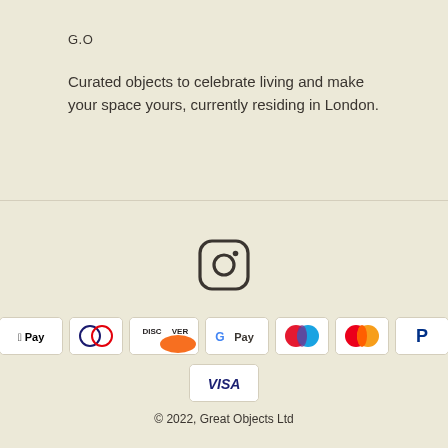G.O
Curated objects to celebrate living and make your space yours, currently residing in London.
[Figure (logo): Instagram camera icon (rounded square with circle and dot)]
[Figure (other): Payment method badges: American Express, Apple Pay, Diners Club, Discover, Google Pay, Maestro, Mastercard, PayPal, Shop Pay, Visa]
© 2022, Great Objects Ltd